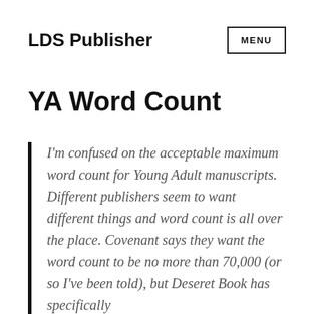LDS Publisher
MENU
YA Word Count
I'm confused on the acceptable maximum word count for Young Adult manuscripts. Different publishers seem to want different things and word count is all over the place. Covenant says they want the word count to be no more than 70,000 (or so I've been told), but Deseret Book has specifically